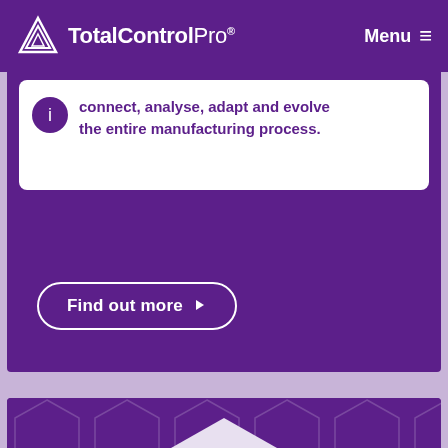TotalControlPro® Menu
connect, analyse, adapt and evolve the entire manufacturing process.
Find out more ▶
[Figure (illustration): Purple hexagonal background with a white hexagon badge containing a stacked boxes/packages icon, representing manufacturing or logistics module]